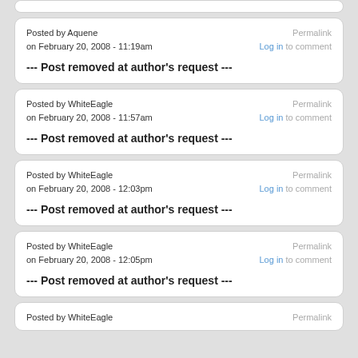Posted by Aquene
on February 20, 2008 - 11:19am
--- Post removed at author's request ---
Posted by WhiteEagle
on February 20, 2008 - 11:57am
--- Post removed at author's request ---
Posted by WhiteEagle
on February 20, 2008 - 12:03pm
--- Post removed at author's request ---
Posted by WhiteEagle
on February 20, 2008 - 12:05pm
--- Post removed at author's request ---
Posted by WhiteEagle
Permalink